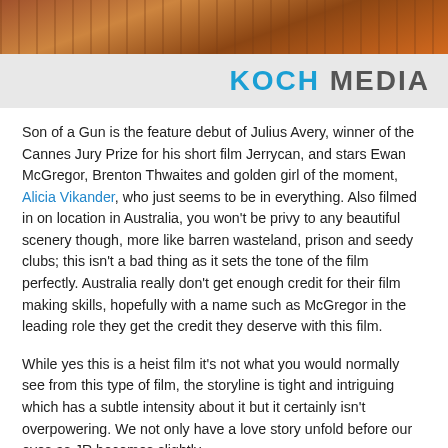[Figure (photo): Film still showing figures in warm brown/orange tones, likely an outdoor scene from the movie Son of a Gun]
[Figure (logo): Koch Media logo in blue and grey text on light grey background]
Son of a Gun is the feature debut of Julius Avery, winner of the Cannes Jury Prize for his short film Jerrycan, and stars Ewan McGregor, Brenton Thwaites and golden girl of the moment, Alicia Vikander, who just seems to be in everything. Also filmed in on location in Australia, you won't be privy to any beautiful scenery though, more like barren wasteland, prison and seedy clubs; this isn't a bad thing as it sets the tone of the film perfectly. Australia really don't get enough credit for their film making skills, hopefully with a name such as McGregor in the leading role they get the credit they deserve with this film.
While yes this is a heist film it's not what you would normally see from this type of film, the storyline is tight and intriguing which has a subtle intensity about it but it certainly isn't overpowering. We not only have a love story unfold before our eyes as JR becomes slightly